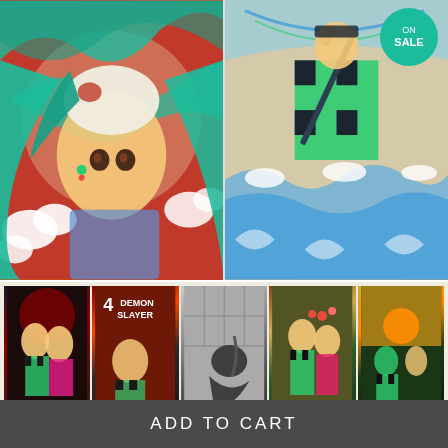[Figure (illustration): Two Demon Slayer anime posters side by side. Left: a female character with teal hair wearing a cat mask with red sunburst background. Right: a character in green checkered outfit wielding a sword over waves, with a 'ON SALE' teal circular badge in upper right.]
[Figure (illustration): Five small thumbnail images of Demon Slayer anime poster variants showing different scenes and characters from the series.]
ADD TO CART